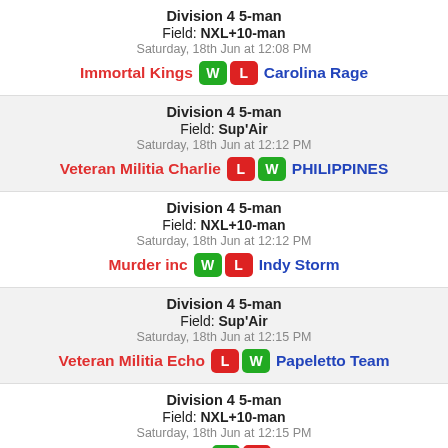Division 4 5-man | Field: NXL+10-man | Saturday, 18th Jun at 12:08 PM | Immortal Kings W L Carolina Rage
Division 4 5-man | Field: Sup'Air | Saturday, 18th Jun at 12:12 PM | Veteran Militia Charlie L W PHILIPPINES
Division 4 5-man | Field: NXL+10-man | Saturday, 18th Jun at 12:12 PM | Murder inc W L Indy Storm
Division 4 5-man | Field: Sup'Air | Saturday, 18th Jun at 12:15 PM | Veteran Militia Echo L W Papeletto Team
Division 4 5-man | Field: NXL+10-man | Saturday, 18th Jun at 12:15 PM | Avalanche PB W L Reckless
Division 4 5-man